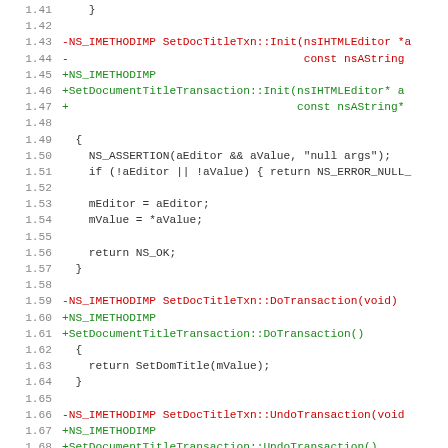Code diff showing SetDocTitleTxn refactoring to SetDocumentTitleTransaction, lines 1.41 through 1.73